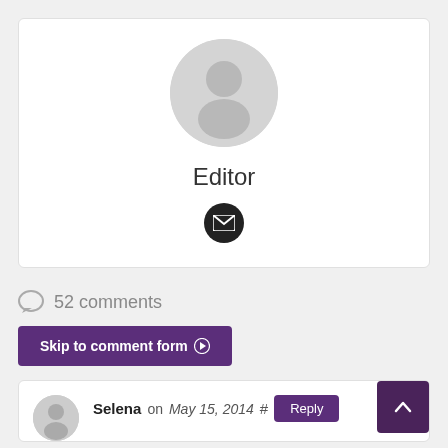[Figure (illustration): User profile card with grey avatar silhouette, name 'Editor', and email icon button]
52 comments
Skip to comment form
Selena on May 15, 2014 # Reply